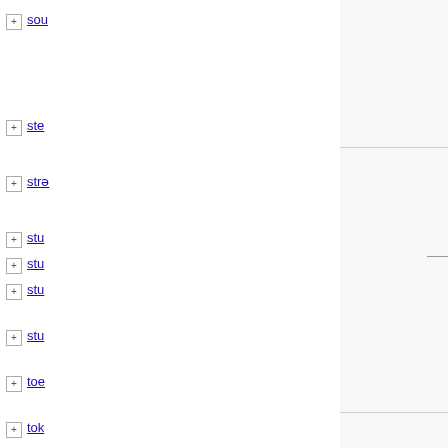+ sou
+ ste
+ strе
+ stu
+ stu
+ stu
+ stu
+ toe
+ tok
[Figure (screenshot): File listing grid showing PDF file cards with names uyanik2021, uyanik2021, ve... and a third row with vega2021ma_. Cards show dates 2019/06/..., 17:31, 1.1 MB; 2021/03/..., 12:37, 1 MB; uyanik2021 2021/06/2..., 20:50, 4.3 MB; uyanik2021 2021/06/2..., 20:50, 8 MB; and partial vega2021ma_ card.]